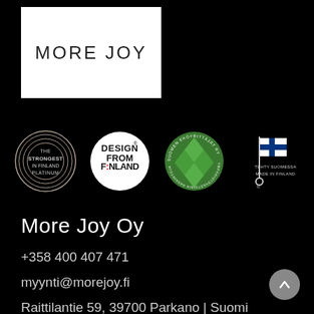[Figure (logo): More Joy logo on white background]
[Figure (logo): The Strongest in Finland Platinum badge]
[Figure (logo): Design from Finland badge]
[Figure (logo): Suomen Ekoyrittäjät ry badge]
[Figure (logo): Tehty Suomessa / Made in Finland badge]
More Joy Oy
+358 400 407 471
myynti@morejoy.fi
Raittilantie 59, 39700 Parkano | Suomi